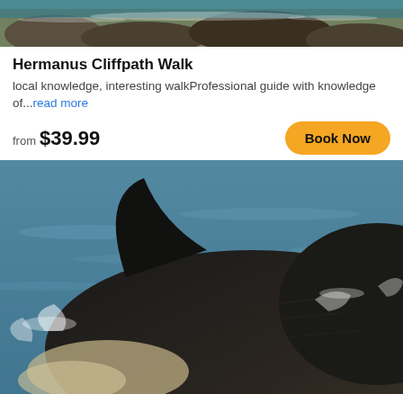[Figure (photo): Top portion of coastal cliff walk image, rocks and water visible]
Hermanus Cliffpath Walk
local knowledge, interesting walkProfessional guide with knowledge of...read more
from $39.99
[Figure (photo): Large whale breaching the ocean surface, dark body with white patches visible, blue ocean water in background]
Whale Watching In Hermanus Tour
Taking safety measures